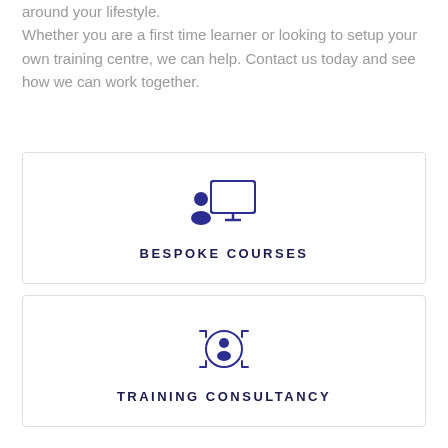around your lifestyle. Whether you are a first time learner or looking to setup your own training centre, we can help. Contact us today and see how we can work together.
[Figure (illustration): Icon of a person at a presentation screen/whiteboard, representing bespoke courses]
BESPOKE COURSES
[Figure (illustration): Icon of a person inside a target/focus circle with arrows pointing outward, representing training consultancy]
TRAINING CONSULTANCY